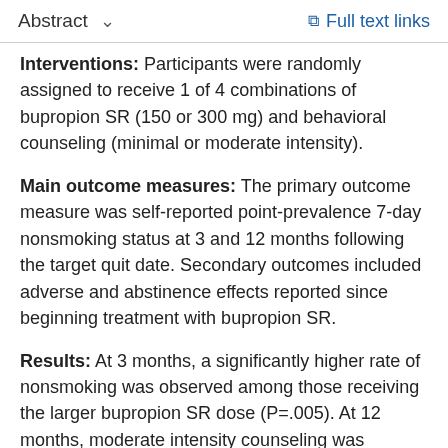Abstract   ∨   Full text links
Interventions: Participants were randomly assigned to receive 1 of 4 combinations of bupropion SR (150 or 300 mg) and behavioral counseling (minimal or moderate intensity).
Main outcome measures: The primary outcome measure was self-reported point-prevalence 7-day nonsmoking status at 3 and 12 months following the target quit date. Secondary outcomes included adverse and abstinence effects reported since beginning treatment with bupropion SR.
Results: At 3 months, a significantly higher rate of nonsmoking was observed among those receiving the larger bupropion SR dose (P=.005). At 12 months, moderate intensity counseling was associated significantly with a higher rate of nonsmoking (P=.001). At 3 months, the higher dose was associated with a significantly...